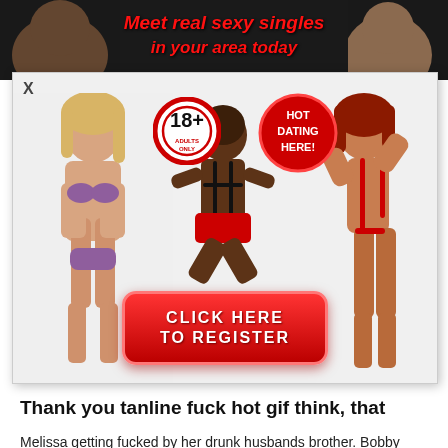[Figure (advertisement): Adult dating advertisement popup showing three women in swimwear/lingerie, an 18+ adults only badge, a 'HOT DATING HERE!' badge, and a red 'CLICK HERE TO REGISTER' button. Background banner reads 'Meet real sexy singles in your area today' in red italic text.]
Thank you tanline fuck hot gif think, that
Melissa getting fucked by her drunk husbands brother. Bobby Fonda Part one: Unfaithful... THE